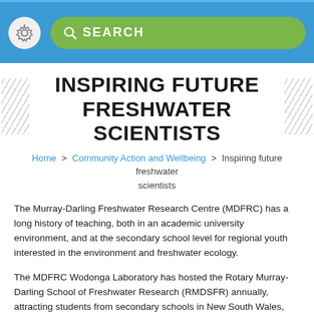SEARCH
INSPIRING FUTURE FRESHWATER SCIENTISTS
Home > Community Action and Wellbeing > Inspiring future freshwater scientists
The Murray-Darling Freshwater Research Centre (MDFRC) has a long history of teaching, both in an academic university environment, and at the secondary school level for regional youth interested in the environment and freshwater ecology.
The MDFRC Wodonga Laboratory has hosted the Rotary Murray-Darling School of Freshwater Research (RMDSFR) annually, attracting students from secondary schools in New South Wales, Victoria, South Australia and the ACT. The RMDSFR enables students who live in and around the Murray-Darling Basin to